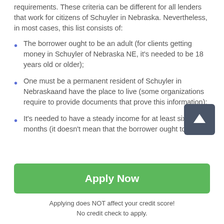requirements. These criteria can be different for all lenders that work for citizens of Schuyler in Nebraska. Nevertheless, in most cases, this list consists of:
The borrower ought to be an adult (for clients getting money in Schuyler of Nebraska NE, it's needed to be 18 years old or older);
One must be a permanent resident of Schuyler in Nebraskaand have the place to live (some organizations require to provide documents that prove this information);
It's needed to have a steady income for at least six months (it doesn't mean that the borrower ought to be
[Figure (other): Dark grey square button with white upward arrow, used as a scroll-to-top button]
Apply Now
Applying does NOT affect your credit score!
No credit check to apply.